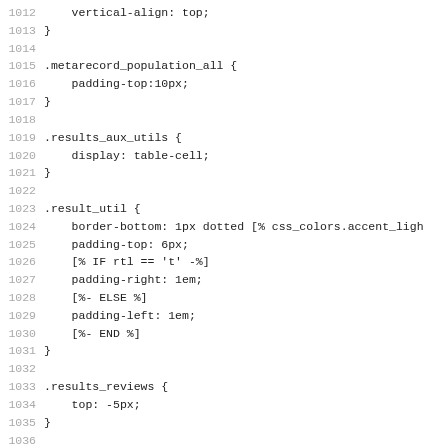Code listing lines 1012-1043, CSS/template source code
1012     vertical-align: top;
1013 }
1014
1015 .metarecord_population_all {
1016     padding-top:10px;
1017 }
1018
1019 .results_aux_utils {
1020     display: table-cell;
1021 }
1022
1023 .result_util {
1024     border-bottom: 1px dotted [% css_colors.accent_ligh
1025     padding-top: 6px;
1026     [% IF rtl == 't' -%]
1027     padding-right: 1em;
1028     [%- ELSE %]
1029     padding-left: 1em;
1030     [%- END %]
1031 }
1032
1033 .results_reviews {
1034     top: -5px;
1035 }
1036
1037 #rdetail_copies {
1038     padding-top: 1.5em;
1039 }
1040
1041 #rdetails_status td {
1042     [% IF rtl == 't' -%]
1043     padding: 7px 13px 3px 0px;